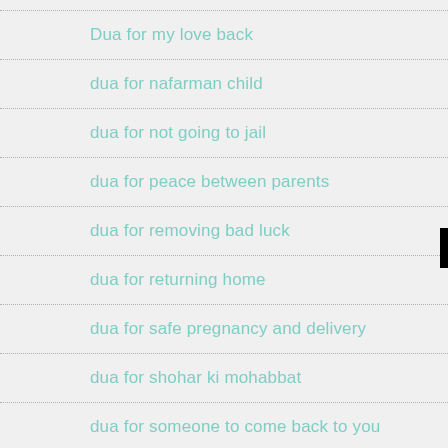Dua for my love back
dua for nafarman child
dua for not going to jail
dua for peace between parents
dua for removing bad luck
dua for returning home
dua for safe pregnancy and delivery
dua for shohar ki mohabbat
dua for someone to come back to you
dua for someone you love